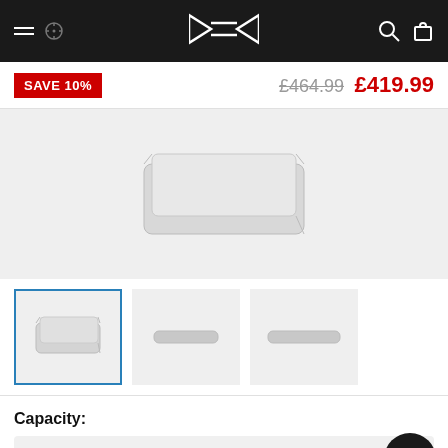Navigation bar with logo, hamburger menu, search and cart icons
SAVE 10%
£464.99 £419.99
[Figure (photo): Large product image area showing an external hard drive (light gray/silver, flat rectangular device) on a light gray background]
[Figure (photo): Three thumbnail images of the product: first thumbnail (selected, blue border) shows a 3D angled view of the external hard drive; second thumbnail shows a front/top flat view; third thumbnail shows another angle view]
Capacity:
2TB (£419.99)